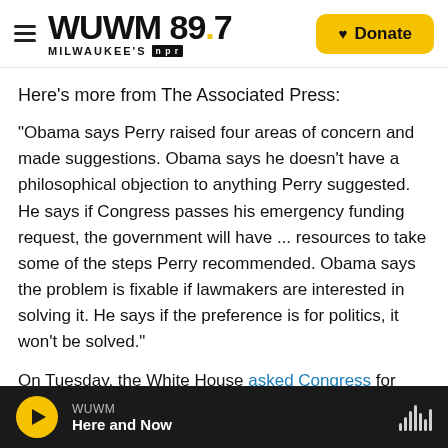WUWM 89.7 Milwaukee's NPR — Donate
Here's more from The Associated Press:
"Obama says Perry raised four areas of concern and made suggestions. Obama says he doesn't have a philosophical objection to anything Perry suggested. He says if Congress passes his emergency funding request, the government will have ... resources to take some of the steps Perry recommended. Obama says the problem is fixable if lawmakers are interested in solving it. He says if the preference is for politics, it won't be solved."
On Tuesday, the White House asked Congress for
WUWM — Here and Now